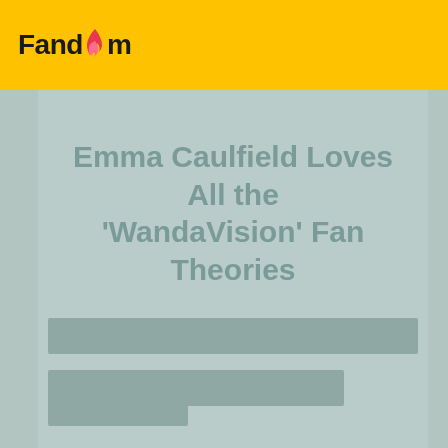Fandom
Emma Caulfield Loves All the ‘WandaVision’ Fan Theories
[Figure (other): Blurred/redacted content bar 1 - full width gray bar placeholder]
[Figure (other): Blurred/redacted content bar 2 - partial width gray bar placeholder]
[Figure (other): Blurred/redacted content bar 3 - small gray bar placeholder at bottom]